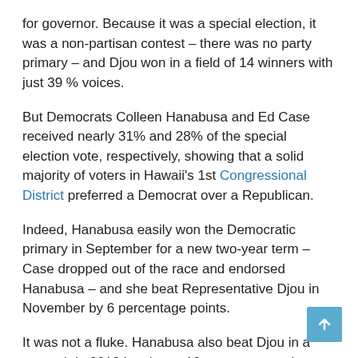for governor. Because it was a special election, it was a non-partisan contest – there was no party primary – and Djou won in a field of 14 winners with just 39 % voices.
But Democrats Colleen Hanabusa and Ed Case received nearly 31% and 28% of the special election vote, respectively, showing that a solid majority of voters in Hawaii's 1st Congressional District preferred a Democrat over a Republican.
Indeed, Hanabusa easily won the Democratic primary in September for a new two-year term – Case dropped out of the race and endorsed Hanabusa – and she beat Representative Djou in November by 6 percentage points.
It was not a fluke. Hanabusa also beat Djou in a rematch in 2012 by almost 10 percentage points. Djou never returned to Congress, losing to Democrat Mark Takai in 2014.